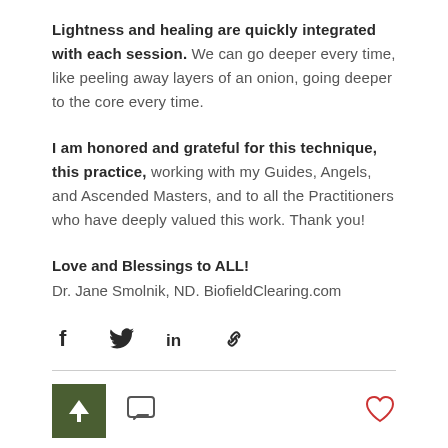Lightness and healing are quickly integrated with each session. We can go deeper every time, like peeling away layers of an onion, going deeper to the core every time.
I am honored and grateful for this technique, this practice, working with my Guides, Angels, and Ascended Masters, and to all the Practitioners who have deeply valued this work. Thank you!
Love and Blessings to ALL!
Dr. Jane Smolnik, ND. BiofieldClearing.com
[Figure (infographic): Social share icons: Facebook (f), Twitter (bird), LinkedIn (in), Link (chain icon)]
[Figure (infographic): Scroll-to-top button (dark green square with white upward arrow), comment bubble icon, and heart/like icon]